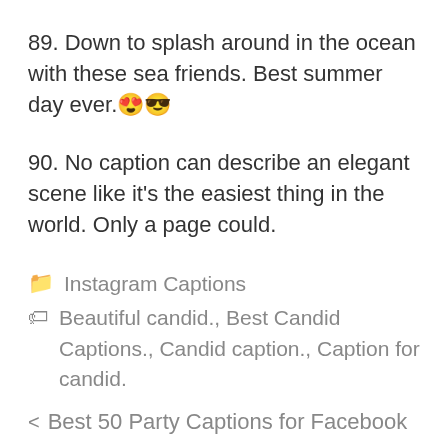89. Down to splash around in the ocean with these sea friends. Best summer day ever. 😍😎
90. No caption can describe an elegant scene like it's the easiest thing in the world. Only a page could.
📁 Instagram Captions
🏷 Beautiful candid., Best Candid Captions., Candid caption., Caption for candid.
< Best 50 Party Captions for Facebook